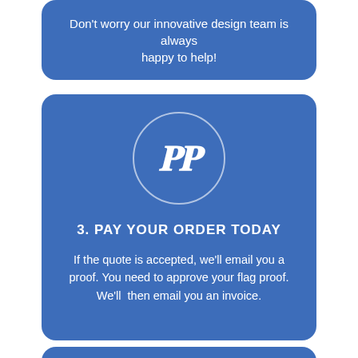Don't worry our innovative design team is always happy to help!
[Figure (logo): PayPal logo icon (white stylized P) inside a white circle outline on a blue rounded rectangle card]
3. PAY YOUR ORDER TODAY
If the quote is accepted, we'll email you a proof. You need to approve your flag proof. We'll then email you an invoice.